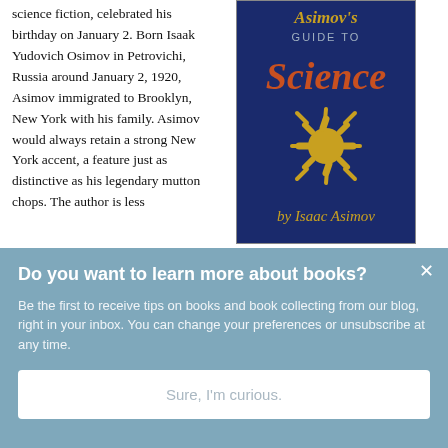science fiction, celebrated his birthday on January 2. Born Isaak Yudovich Osimov in Petrovichi, Russia around January 2, 1920, Asimov immigrated to Brooklyn, New York with his family. Asimov would always retain a strong New York accent, a feature just as distinctive as his legendary mutton chops. The author is less
[Figure (photo): Book cover of 'Asimov's Guide to Science' by Isaac Asimov. Dark navy blue background with orange/gold title text and a golden starburst/sun illustration in the center. Author name in gold italic script at the bottom.]
Do you want to learn more about books?
Be the first to receive tips on books and book collecting from our blog, right in your inbox. You can change your preferences or unsubscribe at any time.
Sure, I'm curious.